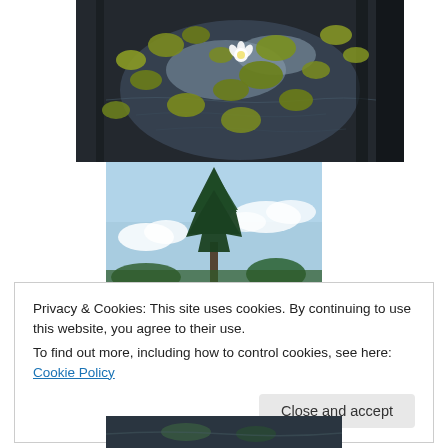[Figure (photo): Photograph of a pond surface with lily pads and a white water lily flower, reflections of clouds and sky visible in the dark water]
[Figure (photo): Photograph looking up at a tall evergreen tree against a blue sky with scattered white clouds, green trees visible at the bottom]
Privacy & Cookies: This site uses cookies. By continuing to use this website, you agree to their use.
To find out more, including how to control cookies, see here: Cookie Policy
Close and accept
[Figure (photo): Partial photograph of water surface, cut off at bottom of page]